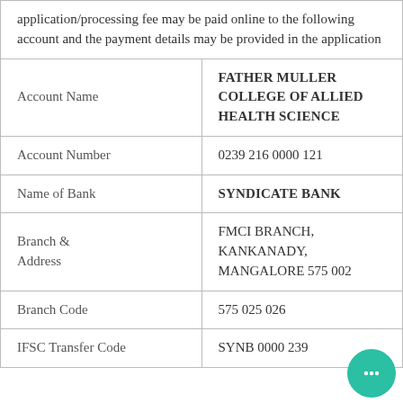| Field | Value |
| --- | --- |
|  | application/processing fee may be paid online to the following account and the payment details may be provided in the application |
| Account Name | FATHER MULLER COLLEGE OF ALLIED HEALTH SCIENCE |
| Account Number | 0239 216 0000 121 |
| Name of Bank | SYNDICATE BANK |
| Branch & Address | FMCI BRANCH, KANKANADY, MANGALORE 575 002 |
| Branch Code | 575 025 026 |
| IFSC Transfer Code | SYNB 0000 239 |